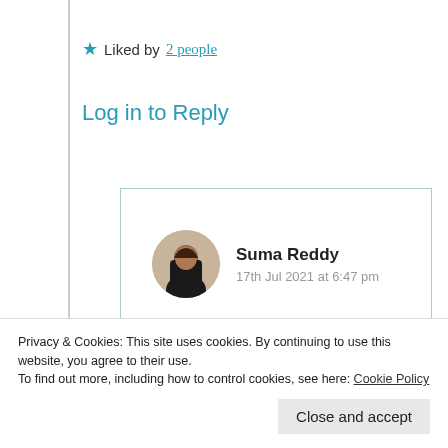★ Liked by 2 people
Log in to Reply
Suma Reddy
17th Jul 2021 at 6:47 pm
I lost my expressions and only apologies for missing response to your
Privacy & Cookies: This site uses cookies. By continuing to use this website, you agree to their use.
To find out more, including how to control cookies, see here: Cookie Policy
Close and accept